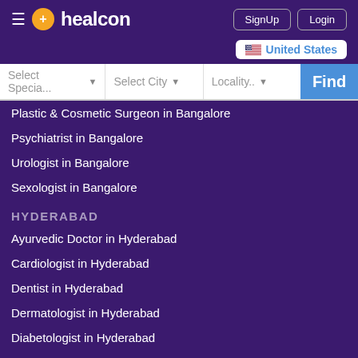healcon | SignUp | Login | United States
Plastic & Cosmetic Surgeon in Bangalore
Psychiatrist in Bangalore
Urologist in Bangalore
Sexologist in Bangalore
HYDERABAD
Ayurvedic Doctor in Hyderabad
Cardiologist in Hyderabad
Dentist in Hyderabad
Dermatologist in Hyderabad
Diabetologist in Hyderabad
General Physician in Hyderabad
Gynecologist in Hyderabad
Homeopathist in Hyderabad
Neurologist in Hyderabad
Opthalmologist in Hyderabad
Orthopedist in Hyderabad
Physiotherapanist in Hyderabad